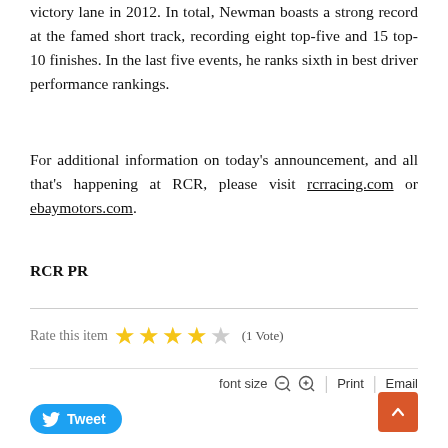victory lane in 2012. In total, Newman boasts a strong record at the famed short track, recording eight top-five and 15 top-10 finishes. In the last five events, he ranks sixth in best driver performance rankings.
For additional information on today's announcement, and all that's happening at RCR, please visit rcrracing.com or ebaymotors.com.
RCR PR
Rate this item  (1 Vote)
font size  Print  Email
Tweet